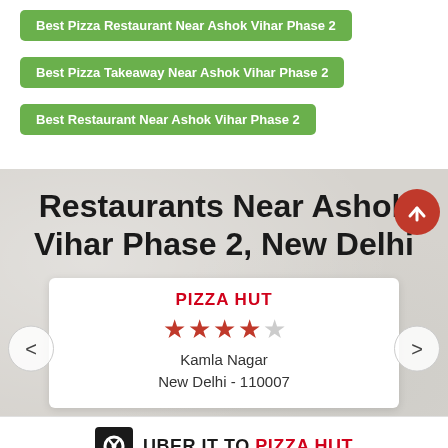Best Pizza Restaurant Near Ashok Vihar Phase 2
Best Pizza Takeaway Near Ashok Vihar Phase 2
Best Restaurant Near Ashok Vihar Phase 2
Restaurants Near Ashok Vihar Phase 2, New Delhi
PIZZA HUT
[Figure (infographic): 4 out of 5 star rating shown with red and grey stars]
Kamla Nagar
New Delhi - 110007
UBER IT TO PIZZA HUT